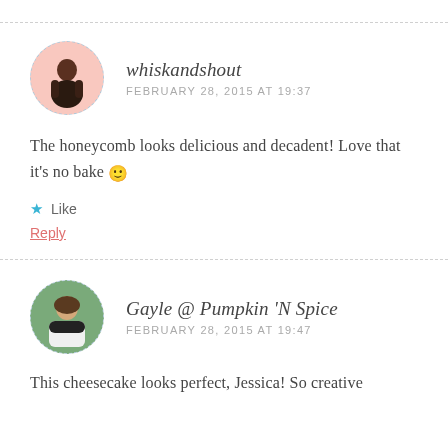whiskandshout
FEBRUARY 28, 2015 AT 19:37
The honeycomb looks delicious and decadent! Love that it's no bake 🙂
Like
Reply
Gayle @ Pumpkin 'N Spice
FEBRUARY 28, 2015 AT 19:47
This cheesecake looks perfect, Jessica! So creative